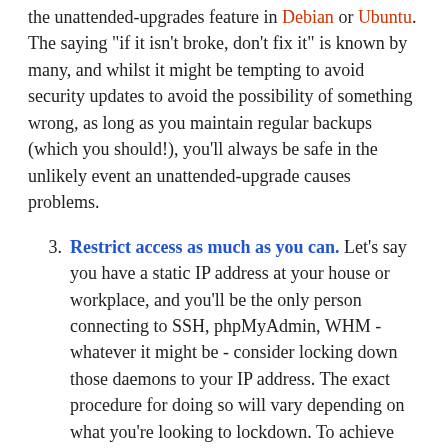the unattended-upgrades feature in Debian or Ubuntu. The saying "if it isn't broke, don't fix it" is known by many, and whilst it might be tempting to avoid security updates to avoid the possibility of something wrong, as long as you maintain regular backups (which you should!), you'll always be safe in the unlikely event an unattended-upgrade causes problems.
3. Restrict access as much as you can. Let's say you have a static IP address at your house or workplace, and you'll be the only person connecting to SSH, phpMyAdmin, WHM - whatever it might be - consider locking down those daemons to your IP address. The exact procedure for doing so will vary depending on what you're looking to lockdown. To achieve this with SSH, for